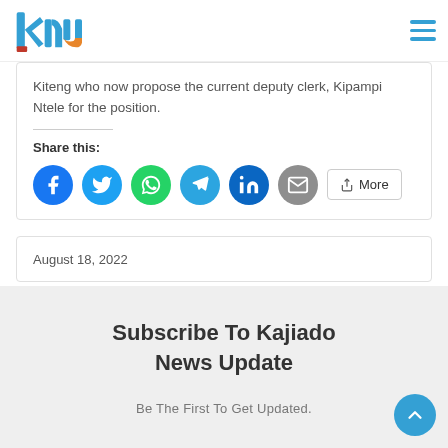KNU logo and hamburger menu
Kiteng who now propose the current deputy clerk, Kipampi Ntele for the position.
Share this:
[Figure (infographic): Social share buttons: Facebook, Twitter, WhatsApp, Telegram, LinkedIn, Email, More]
August 18, 2022
Subscribe To Kajiado News Update
Be The First To Get Updated.